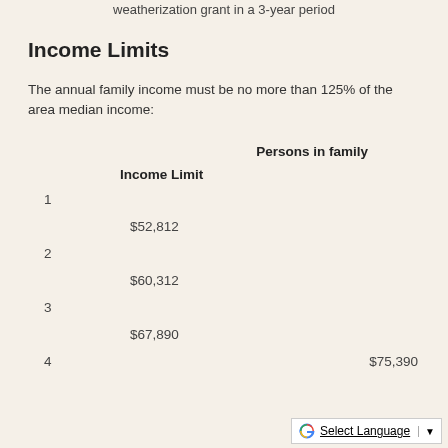weatherization grant in a 3-year period
Income Limits
The annual family income must be no more than 125% of the area median income:
| Persons in family | Income Limit |
| --- | --- |
| 1 | $52,812 |
| 2 | $60,312 |
| 3 | $67,890 |
| 4 | $75,390 |